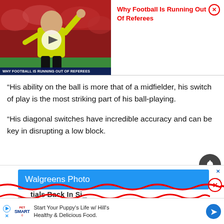[Figure (screenshot): Video thumbnail of a football referee in yellow shirt raising arm, with crowd in background, play button overlay, and caption bar reading 'WHY FOOTBALL IS RUNNING OUT OF REFEREES']
Why Football Is Running Out Of Referees
“His ability on the ball is more that of a midfielder, his switch of play is the most striking part of his ball-playing.
“His diagonal switches have incredible accuracy and can be key in disrupting a low block.
[Figure (screenshot): Walgreens Photo advertisement banner in blue with partial text visible]
[Figure (screenshot): PetSmart advertisement: Start Your Puppy's Life w/ Hill's Healthy & Delicious Food.]